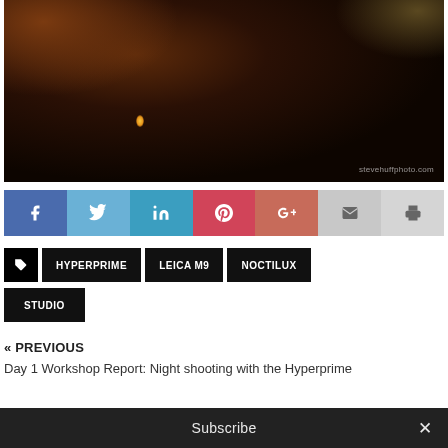[Figure (photo): Dark bar/restaurant scene with a woman sitting at a table, warm ambient lighting, candles. Watermark reading 'stevehuffphoto.com' in lower right.]
[Figure (infographic): Social share button bar with icons for Facebook, Twitter, LinkedIn, Pinterest, Google+, Email, and Print]
HYPERPRIME
LEICA M9
NOCTILUX
STUDIO
« PREVIOUS
Day 1 Workshop Report: Night shooting with the Hyperprime
Subscribe